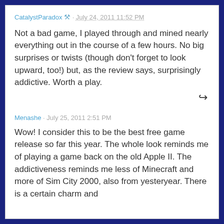CatalystParadox 🔧 · July 24, 2011 11:52 PM
Not a bad game, I played through and mined nearly everything out in the course of a few hours. No big surprises or twists (though don't forget to look upward, too!) but, as the review says, surprisingly addictive. Worth a play.
Menashe · July 25, 2011 2:51 PM
Wow! I consider this to be the best free game release so far this year. The whole look reminds me of playing a game back on the old Apple II. The addictiveness reminds me less of Minecraft and more of Sim City 2000, also from yesteryear. There is a certain charm and